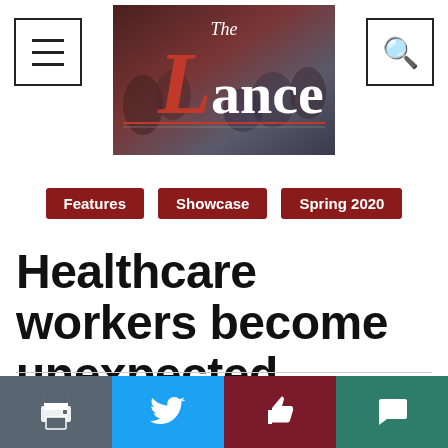[Figure (logo): The Lance newspaper logo with gothic L, dark red/maroon background with crowd photo]
Features
Showcase
Spring 2020
Healthcare workers become unexpected heroes in the age of COVID-19